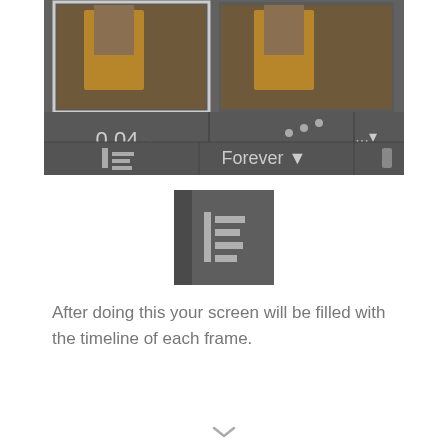[Figure (screenshot): Screenshot of a video/photo editing interface showing two thumbnail images side by side with '0.04v' text, dots icon, ellipsis dropdown, a timeline icon, 'Forever' dropdown, and a scroll bar.]
[Figure (screenshot): Zoomed-in screenshot showing a single grey button with a timeline/list icon (horizontal lines with a vertical bar).]
After doing this your screen will be filled with the timeline of each frame.